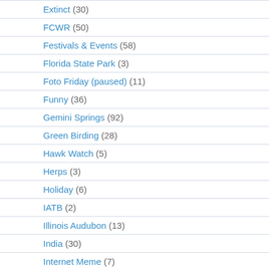Extinct (30)
FCWR (50)
Festivals & Events (58)
Florida State Park (3)
Foto Friday (paused) (11)
Funny (36)
Gemini Springs (92)
Green Birding (28)
Hawk Watch (5)
Herps (3)
Holiday (6)
IATB (2)
Illinois Audubon (13)
India (30)
Internet Meme (7)
Invasive / Non-native (5)
June Challenge (4)
Kayak (2)
Lake-Cook Audubon (16)